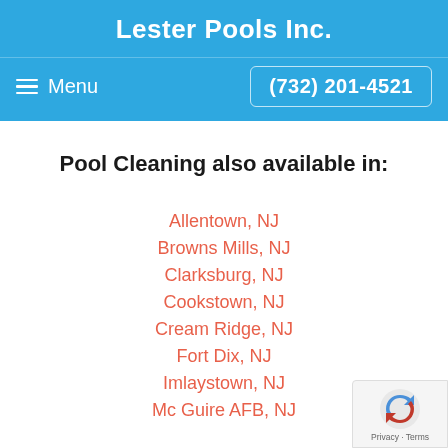Lester Pools Inc.
Menu  (732) 201-4521
Pool Cleaning also available in:
Allentown, NJ
Browns Mills, NJ
Clarksburg, NJ
Cookstown, NJ
Cream Ridge, NJ
Fort Dix, NJ
Imlaystown, NJ
Mc Guire AFB, NJ